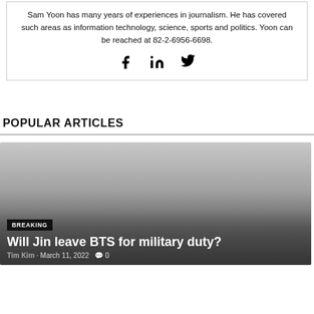Sam Yoon has many years of experiences in journalism. He has covered such areas as information technology, science, sports and politics. Yoon can be reached at 82-2-6956-6698.
[Figure (infographic): Social media icons: Facebook (f), LinkedIn (in), Twitter (bird icon)]
POPULAR ARTICLES
[Figure (photo): Article card with dark gradient background, BREAKING badge, title 'Will Jin leave BTS for military duty?', byline Tim Kim · March 11, 2022 · 0 comments]